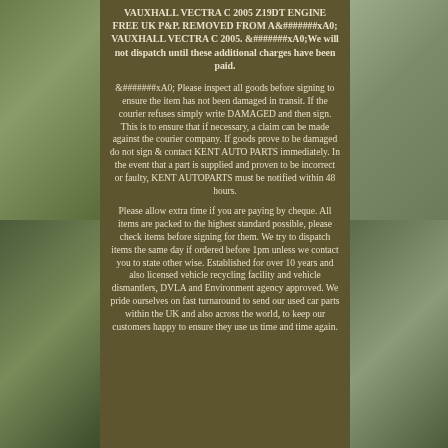VAUXHALL VECTRA C 2005 Z19DT ENGINE FREE UK P&P. REMOVED FROM A&#xA0; VAUXHALL VECTRA C 2005. &#xA0;We will not dispatch until these additional charges have been paid.
&#xA0; Please inspect all goods before signing to ensure the item has not been damaged in transit. If the courier refuses simply write DAMAGED and then sign. This is to ensure that if necessary, a claim can be made against the courier company. If goods prove to be damaged do not sign & contact KENT AUTO PARTS immediately. In the event that a part is supplied and proven to be incorrect or faulty, KENT AUTOPARTS must be notified within 48 hours.
Please allow extra time if you are paying by cheque. All items are packed to the highest standard possible, please check items before signing for them. We try to dispatch items the same day if ordered before 1pm unless we contact you to state other wise. Established for over 10 years and also licensed vehicle recycling facility and vehicle dismantlers, DVLA and Environment agency approved. We pride ourselves on fast turnaround to send our used car parts within the UK and also across the world, to keep our customers happy to ensure they use us time and time again.